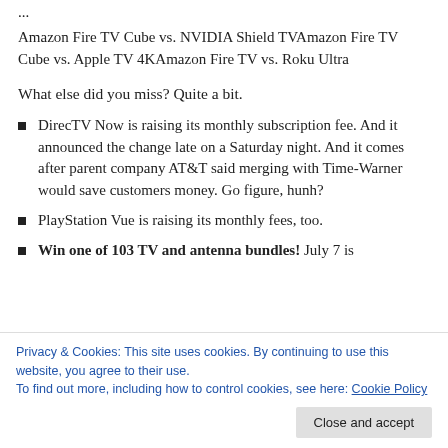...
Amazon Fire TV Cube vs. NVIDIA Shield TVAmazon Fire TV Cube vs. Apple TV 4KAmazon Fire TV vs. Roku Ultra
What else did you miss? Quite a bit.
DirecTV Now is raising its monthly subscription fee. And it announced the change late on a Saturday night. And it comes after parent company AT&T said merging with Time-Warner would save customers money. Go figure, hunh?
PlayStation Vue is raising its monthly fees, too.
Win one of 103 TV and antenna bundles! July 7 is
Privacy & Cookies: This site uses cookies. By continuing to use this website, you agree to their use.
To find out more, including how to control cookies, see here: Cookie Policy